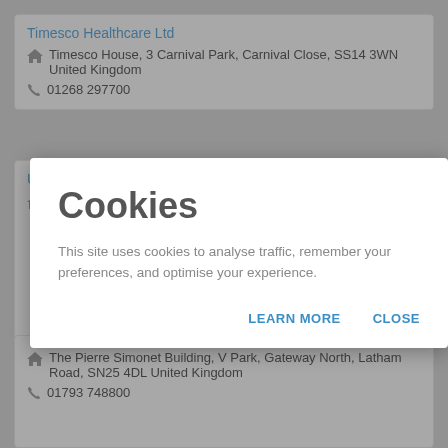Timesco Healthcare Ltd
Timesco House, 3 Carnival Park, Carnival Close, SS14 3WN United Kingdom
01268 297700
Unisurge Limited
Farboud Innovation Park, Formula Drive, CB8 0BF United Kingdom
Cookies
This site uses cookies to analyse traffic, remember your preferences, and optimise your experience.
LEARN MORE   CLOSE
The Pierre Simonet Building, V Park, Gateway North, Latham Road, SN25 4DL United Kingdom
01793 748800